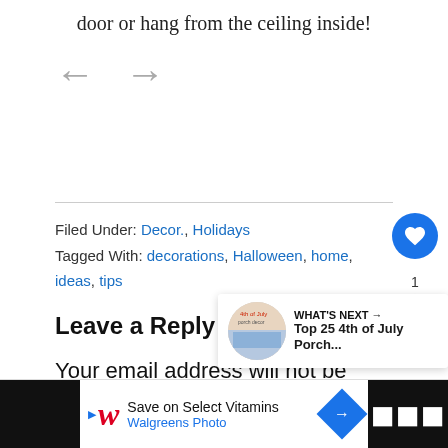door or hang from the ceiling inside!
[Figure (illustration): Navigation arrows: left arrow and right arrow for slideshow navigation]
Filed Under: Decor., Holidays
Tagged With: decorations, Halloween, home, ideas, tips
Leave a Reply
Your email address will not be
[Figure (infographic): What's Next box showing Top 25 4th of July Porch... with thumbnail image]
[Figure (infographic): Advertisement bar: Save on Select Vitamins - Walgreens Photo]